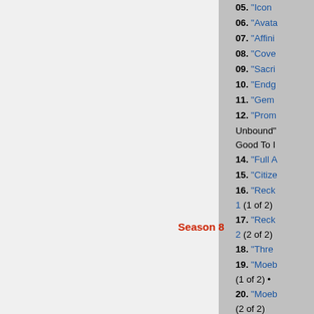| Season | Episodes |
| --- | --- |
| Season 8 | 05. "Icon..." 06. "Avata..." 07. "Affini..." 08. "Cove..." 09. "Sacri..." 10. "Endg..." 11. "Gem..." 12. "Prom... Unbound"... Good To ... 14. "Full A..." 15. "Citize..." 16. "Reck... 1 (1 of 2) 17. "Reck... 2 (2 of 2) 18. "Thre..." 19. "Moeb... (1 of 2) • 20. "Moeb... (2 of 2) |
| Season 9 | 01. "Avalo..." ...of 3) • 02. ... |